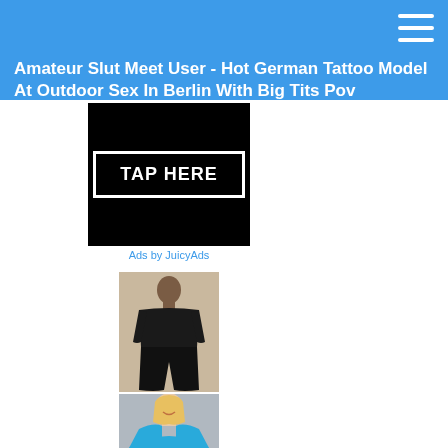Amateur Slut Meet User - Hot German Tattoo Model At Outdoor Sex In Berlin With Big Tits Pov
[Figure (other): Advertisement banner with black background showing TAP HERE button with white border. Below the image shows 'Ads by JuicyAds' text in blue.]
[Figure (photo): Photo of a person wearing a black outfit, standing pose, against a beige/cream background.]
[Figure (photo): Photo of a blonde woman wearing a blue/teal top, smiling, against a grey background.]